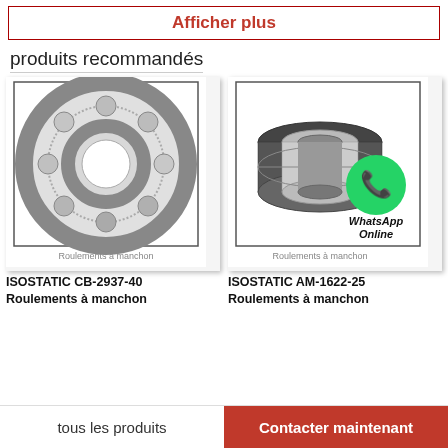Afficher plus
produits recommandés
[Figure (photo): Photo of ISOSTATIC CB-2937-40 ball bearing (Roulements à manchon)]
ISOSTATIC CB-2937-40
Roulements à manchon
[Figure (photo): Photo of ISOSTATIC AM-1622-25 ball bearing (Roulements à manchon) with WhatsApp Online overlay]
ISOSTATIC AM-1622-25
Roulements à manchon
tous les produits
Contacter maintenant